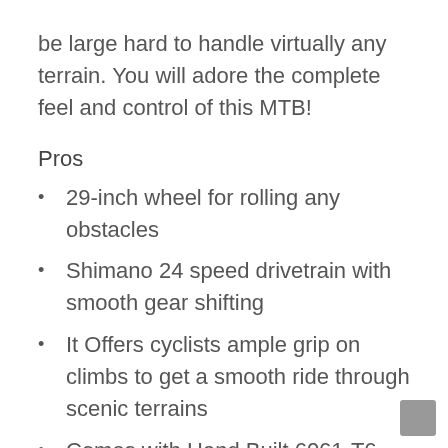be large hard to handle virtually any terrain. You will adore the complete feel and control of this MTB!
Pros
29-inch wheel for rolling any obstacles
Shimano 24 speed drivetrain with smooth gear shifting
It Offers cyclists ample grip on climbs to get a smooth ride through scenic terrains
Comes with Hand Built 6061-T6 aluminum 29er hardtail framework which ensures durability
The bike comes with Tektro disc brakes that are strong enough to get immediate stopping